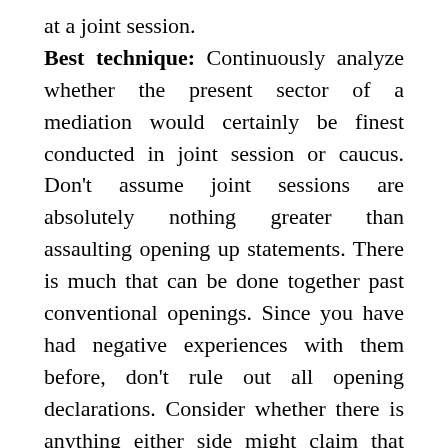at a joint session.
Best technique: Continuously analyze whether the present sector of a mediation would certainly be finest conducted in joint session or caucus. Don't assume joint sessions are absolutely nothing greater than assaulting opening up statements. There is much that can be done together past conventional openings. Since you have had negative experiences with them before, don't rule out all opening declarations. Consider whether there is anything either side might claim that would be effective. Prevent stating alienating points and